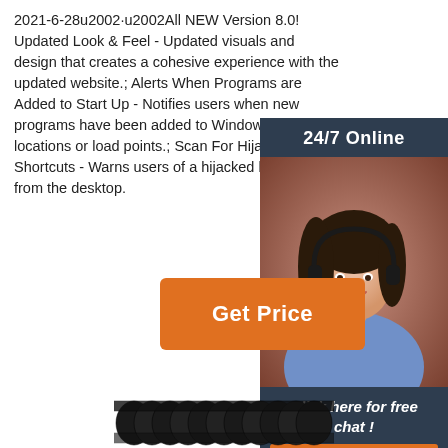2021-6-28u2002·u2002All NEW Version 8.0! Updated Look & Feel - Updated visuals and design that creates a cohesive experience with the updated website.; Alerts When Programs are Added to Start Up - Notifies users when new programs have been added to Windows startup locations or load points.; Scan For Hijacked Shortcuts - Warns users of a hijacked browser shortcut from the desktop.
[Figure (photo): Customer service representative with headset, 24/7 Online badge, Click here for free chat!, QUOTATION button on dark sidebar]
Get Price
[Figure (photo): Black coil/spring object visible at bottom of page]